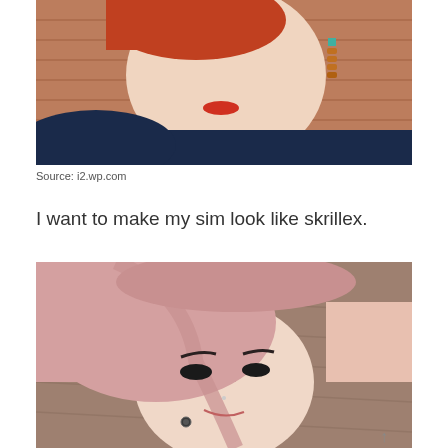[Figure (photo): Close-up side profile photo of a young woman with red/auburn hair, pale skin, red lipstick, wearing a dark navy top and dangling amber/turquoise earrings, with a brick wall background.]
Source: i2.wp.com
I want to make my sim look like skrillex.
[Figure (photo): Portrait photo of a young woman with long pink/rose-gold hair shaved on one side (undercut), wearing dark eye makeup, small gauge earrings, against a brown/tan fabric background.]